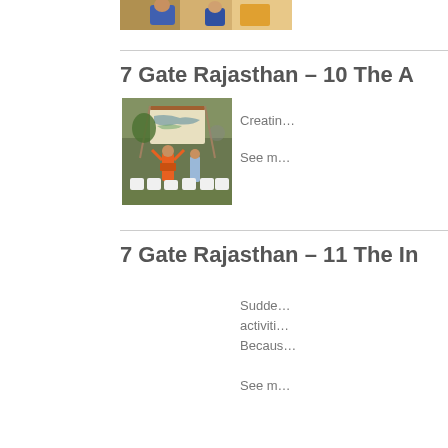[Figure (photo): Partial view of a photograph at the top of the page showing people, cropped]
7 Gate Rajasthan – 10 The A…
[Figure (photo): Photograph of a woman in orange clothing with arms raised, standing in front of a world map display board with plastic chairs arranged around, outdoors under a tent]
Creatin…
See m…
7 Gate Rajasthan – 11 The In…
Sudde… activiti… Becaus…
See m…